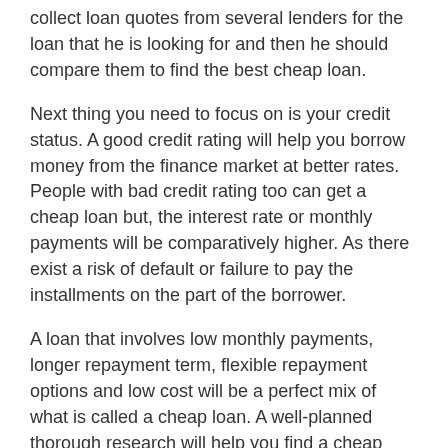collect loan quotes from several lenders for the loan that he is looking for and then he should compare them to find the best cheap loan.
Next thing you need to focus on is your credit status. A good credit rating will help you borrow money from the finance market at better rates. People with bad credit rating too can get a cheap loan but, the interest rate or monthly payments will be comparatively higher. As there exist a risk of default or failure to pay the installments on the part of the borrower.
A loan that involves low monthly payments, longer repayment term, flexible repayment options and low cost will be a perfect mix of what is called a cheap loan. A well-planned thorough research will help you find a cheap loan that goes well with your financial circumstances.